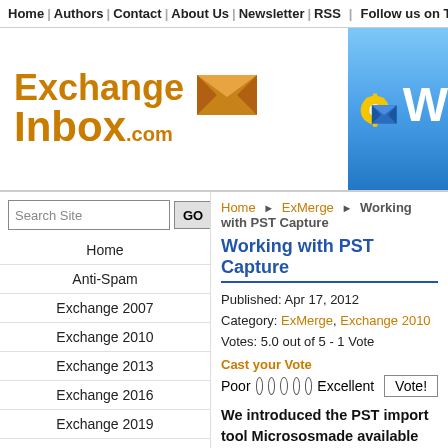Home | Authors | Contact | About Us | Newsletter | RSS | Follow us on Twitter
[Figure (logo): ExchangeInbox.com logo with envelope icon on the left, and a gear+envelope Windows Live icon on the right blue gradient panel]
Search Site GO
Home ▶ ExMerge ▶ Working with PST Capture
Home
Anti-Spam
Exchange 2007
Exchange 2010
Exchange 2013
Exchange 2016
Exchange 2019
ExMerge
General
High Availability
Install/Upgrade
Working with PST Capture
Published: Apr 17, 2012
Category: ExMerge, Exchange 2010
Votes: 5.0 out of 5 - 1 Vote
Cast your Vote
Poor  O  O  O  O  O  Excellent  Vote!
We introduced the PST import tool Micros... made available last January in Installing PST Capture. In the first part we looked at the installation requirements and walked thro... installation of the Central Service and the... components. Today we take a look at the configuration options and walk through a...